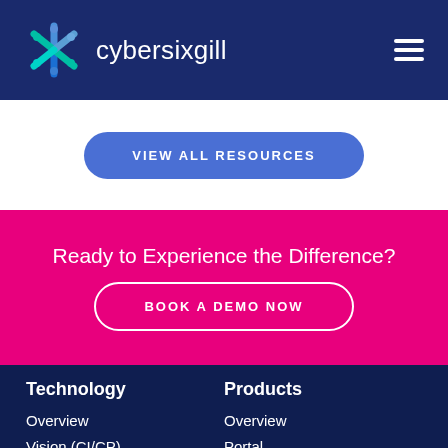[Figure (logo): Cybersixgill logo with X-shaped asterisk icon in blue/green/teal and text 'cybersixgill' in white]
VIEW ALL RESOURCES
Ready to Experience the Difference?
BOOK A DEMO NOW
Technology
Products
Overview
Vision (CI/CP)
Overview
Portal
Darkfeed